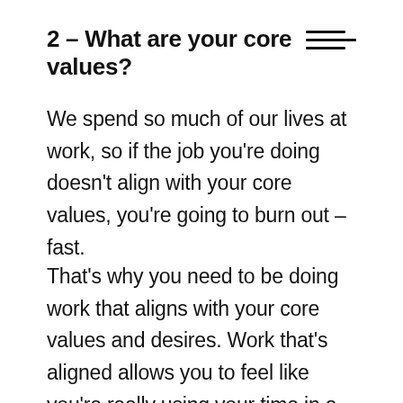2 – What are your core values?
We spend so much of our lives at work, so if the job you’re doing doesn’t align with your core values, you’re going to burn out – fast.
That’s why you need to be doing work that aligns with your core values and desires. Work that’s aligned allows you to feel like you’re really using your time in a worthwhile way